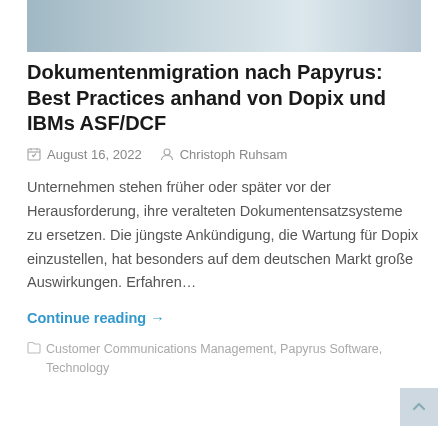[Figure (photo): Partial hero image at top of article page, showing blurred office/person scene]
Dokumentenmigration nach Papyrus: Best Practices anhand von Dopix und IBMs ASF/DCF
August 16, 2022  Christoph Ruhsam
Unternehmen stehen früher oder später vor der Herausforderung, ihre veralteten Dokumentensatzsysteme zu ersetzen. Die jüngste Ankündigung, die Wartung für Dopix einzustellen, hat besonders auf dem deutschen Markt große Auswirkungen. Erfahren…
Continue reading →
Customer Communications Management, Papyrus Software, Technology